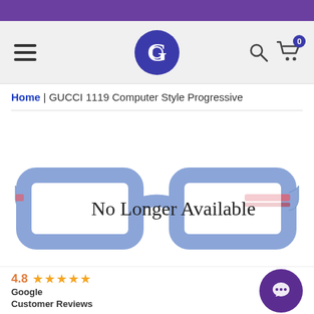Navigation header with hamburger menu, GlassesUSA logo, search icon, and cart with 0 items
Home | GUCCI 1119 Computer Style Progressive
[Figure (photo): Blue Gucci eyeglasses frames with pink/red stripe on temples overlaid with 'No Longer Available' text]
4.8 ★★★★★ Google Customer Reviews